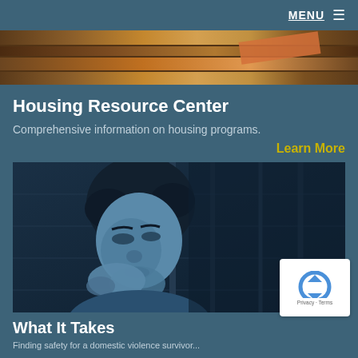MENU ≡
[Figure (photo): Top banner image showing wooden boards or planks, cropped to a horizontal strip]
Housing Resource Center
Comprehensive information on housing programs.
Learn More
[Figure (photo): Blue-tinted photo of a woman with short curly hair, head tilted down, hand raised near her face, sitting against a brick wall background]
What It Takes
Finding safety for a domestic violence survivor...